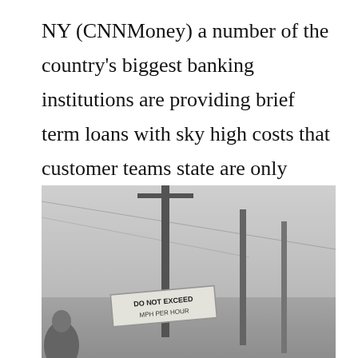NY (CNNMoney) a number of the country's biggest banking institutions are providing brief term loans with sky high costs that customer teams state are only because predatory as payday advances. Wells Fargo ( WFC , Fortune 500), U.S. Bank ( USB , Fortune 500), areas ( RF , Fortune 500),
[Figure (photo): Black and white outdoor photograph showing utility or sign poles against a sky background, with a sign partially visible reading 'DO NOT EXCEED' and additional text below, and a figure visible at the bottom left corner.]